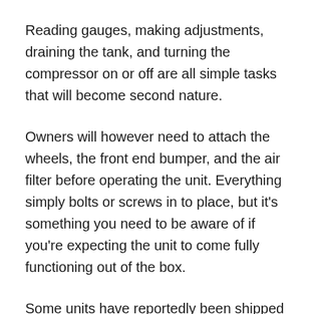Reading gauges, making adjustments, draining the tank, and turning the compressor on or off are all simple tasks that will become second nature.
Owners will however need to attach the wheels, the front end bumper, and the air filter before operating the unit. Everything simply bolts or screws in to place, but it's something you need to be aware of if you're expecting the unit to come fully functioning out of the box.
Some units have reportedly been shipped with wheels that are wobbly even when properly attached to their brackets. Owners can call CAT for additional washers, or add additional flat